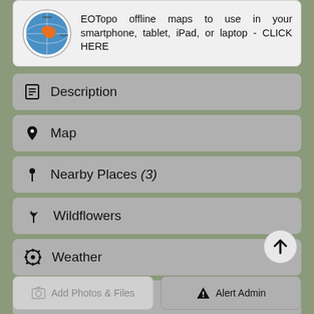EOTopo offline maps to use in your smartphone, tablet, iPad, or laptop - CLICK HERE
Description
Map
Nearby Places (3)
Wildflowers
Weather
Update History
Comments & Reviews
Add Photos & Files
Alert Admin